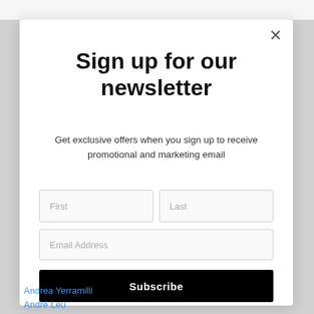Sign up for our newsletter
Get exclusive offers when you sign up to receive promotional and marketing email
First
Last
Email Address
Subscribe
Andrea Yerramilli
André Leu